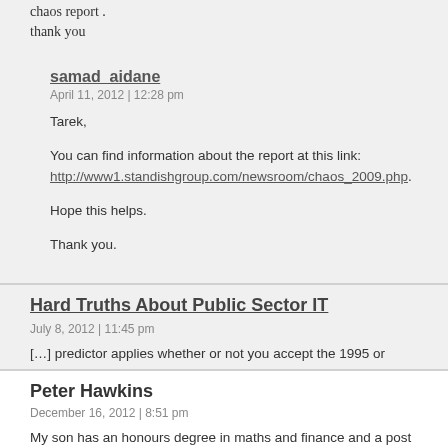chaos report .
thank you
samad_aidane
April 11, 2012 | 12:28 pm
Tarek,
You can find information about the report at this link:
http://www1.standishgroup.com/newsroom/chaos_2009.php.
Hope this helps.
Thank you.
Hard Truths About Public Sector IT
July 8, 2012 | 11:45 pm
[…] predictor applies whether or not you accept the 1995 or 2009 Standish Reports or m
Peter Hawkins
December 16, 2012 | 8:51 pm
My son has an honours degree in maths and finance and a post grad in economics and h